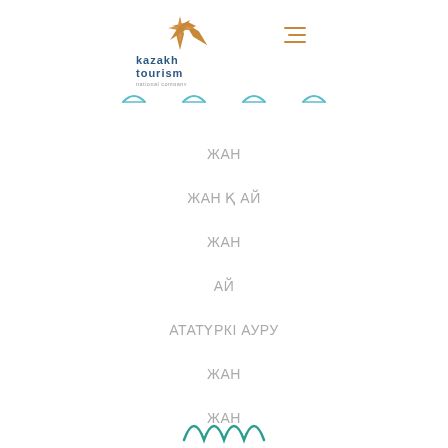[Figure (logo): Kazakh Tourism national company logo with compass star and text 'kazakh tourism national company']
[Figure (infographic): Navigation menu icons - four small arch/curve icons in a row]
ЖАН
ЖАН Қ АЙ
ЖАН
АЙ
АТАТҮРКІ АУРУ
ЖАН
ЖАН
[Figure (logo): Partial logo at bottom of page]